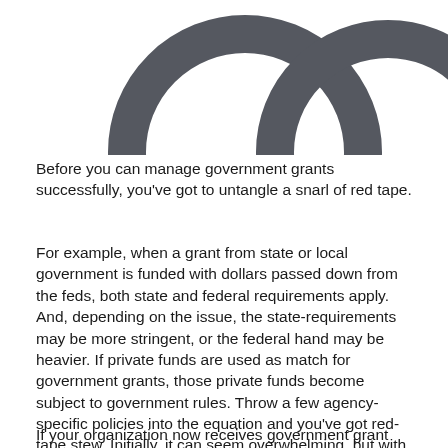[Figure (illustration): Two large dark gray rings/donuts partially visible at the top of the page, cropped by the page boundary. The rings are bold and circular with thick outlines on a white background.]
Before you can manage government grants successfully, you've got to untangle a snarl of red tape.
For example, when a grant from state or local government is funded with dollars passed down from the feds, both state and federal requirements apply. And, depending on the issue, the state-requirements may be more stringent, or the federal hand may be heavier. If private funds are used as match for government grants, those private funds become subject to government rules. Throw a few agency-specific policies into the equation and you've got red-tape stew. Initially, it can seem overwhelming, but with study and diligence your organization can figure this out.
If your organization now receives government grant funds